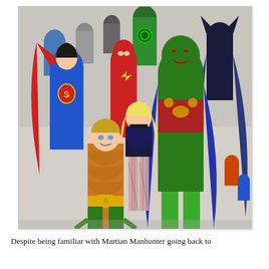[Figure (illustration): Comic book illustration showing a group of DC superheroes walking forward in a crowd. In the foreground: Aquaman (orange scale tunic, green pants, gold belt), Black Canary (black corset, fishnets, blonde hair), Martian Manhunter (large green alien figure in red and gold costume). Behind them: Superman (blue suit, red cape, S-shield), The Flash (red suit, lightning bolt), Green Lantern (green suit, GL symbol). Batman visible on the right in dark blue cape. Many other heroes crowd the background.]
Despite being familiar with Martian Manhunter going back to